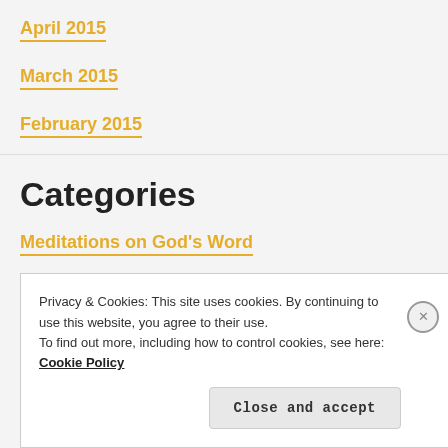April 2015
March 2015
February 2015
Categories
Meditations on God's Word
Privacy & Cookies: This site uses cookies. By continuing to use this website, you agree to their use.
To find out more, including how to control cookies, see here: Cookie Policy
Close and accept